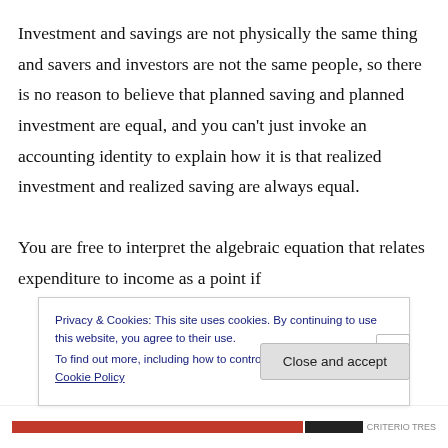Investment and savings are not physically the same thing and savers and investors are not the same people, so there is no reason to believe that planned saving and planned investment are equal, and you can't just invoke an accounting identity to explain how it is that realized investment and realized saving are always equal. You are free to interpret the algebraic equation that relates expenditure to income as a point if
Privacy & Cookies: This site uses cookies. By continuing to use this website, you agree to their use. To find out more, including how to control cookies, see here: Cookie Policy
Close and accept